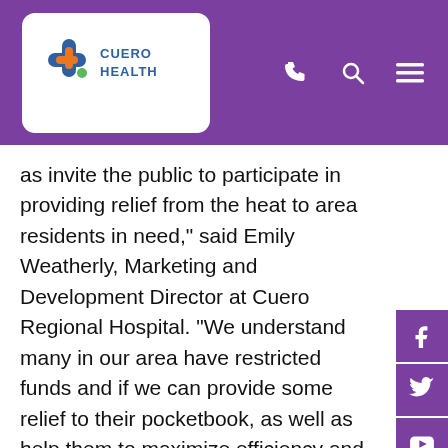[Figure (logo): Cuero Health logo with cross icon in blue, orange, and green, with text CUERO HEALTH]
as invite the public to participate in providing relief from the heat to area residents in need,” said Emily Weatherly, Marketing and Development Director at Cuero Regional Hospital. “We understand many in our area have restricted funds and if we can provide some relief to their pocketbook, as well as help them to maximize efficiency and comfort of cooler air temperatures in their homes this summer; we want to do our part to help.”
“We want to encourage both businesses and individuals to participate in this fan drive so we can provide fans to those in need. Please purchase a box fan locally and drop it off at one of the locations before July 12th so we can distribute these as soon as possible,” said Jennifer Janssen, RN, BSN, ICU/PACU/Day Surgery, Cardiac Rehab Director at Cuero Regional Hospital.